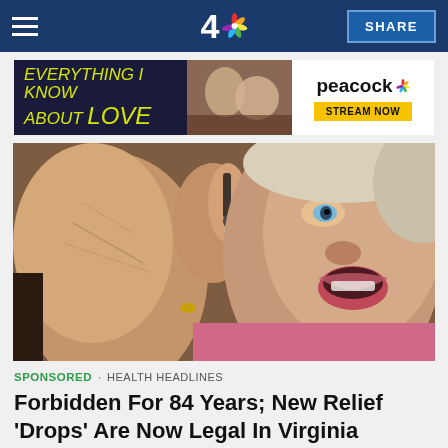NBC 4 — SHARE
[Figure (illustration): Advertisement banner for 'Everything I Know About Love' on Peacock — Stream Now]
[Figure (photo): Elderly woman tilting her head back dropping liquid from a dropper into her open mouth, wearing a pink top and gold ring]
SPONSORED · HEALTH HEADLINES
Forbidden For 84 Years; New Relief 'Drops' Are Now Legal In Virginia